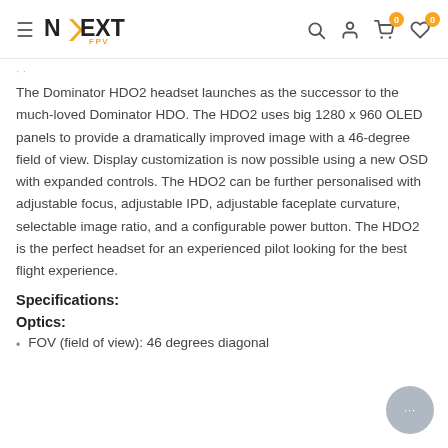NEXT FPV — navigation header with search, account, cart (0), wishlist (0) icons
The Dominator HDO2 headset launches as the successor to the much-loved Dominator HDO. The HDO2 uses big 1280 x 960 OLED panels to provide a dramatically improved image with a 46-degree field of view. Display customization is now possible using a new OSD with expanded controls. The HDO2 can be further personalised with adjustable focus, adjustable IPD, adjustable faceplate curvature, selectable image ratio, and a configurable power button. The HDO2 is the perfect headset for an experienced pilot looking for the best flight experience.
Specifications:
Optics:
FOV (field of view): 46 degrees diagonal